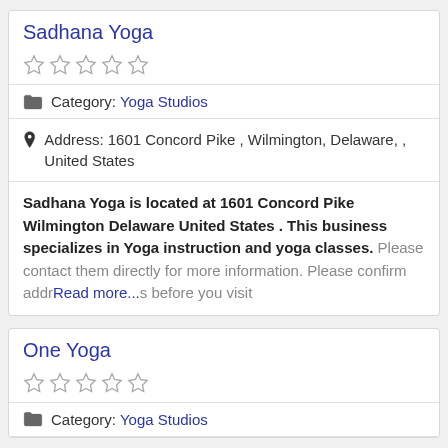Sadhana Yoga
★★★★★ (empty stars rating)
Category: Yoga Studios
Address: 1601 Concord Pike , Wilmington, Delaware, , United States
Sadhana Yoga is located at 1601 Concord Pike Wilmington Delaware United States . This business specializes in Yoga instruction and yoga classes. Please contact them directly for more information. Please confirm address and hours before you visit Read more...
One Yoga
★★★★★ (empty stars rating)
Category: Yoga Studios